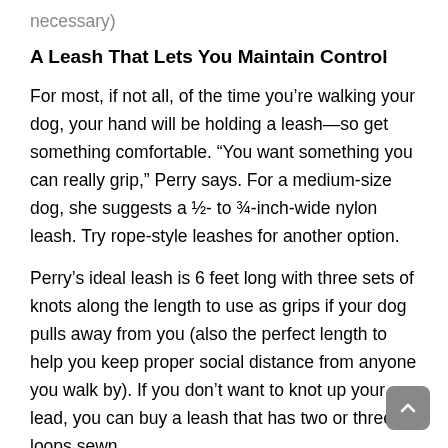necessary)
A Leash That Lets You Maintain Control
For most, if not all, of the time you’re walking your dog, your hand will be holding a leash—so get something comfortable. “You want something you can really grip,” Perry says. For a medium-size dog, she suggests a ½- to ¾-inch-wide nylon leash. Try rope-style leashes for another option.
Perry’s ideal leash is 6 feet long with three sets of knots along the length to use as grips if your dog pulls away from you (also the perfect length to help you keep proper social distance from anyone you walk by). If you don’t want to knot up your lead, you can buy a leash that has two or three loops sewn